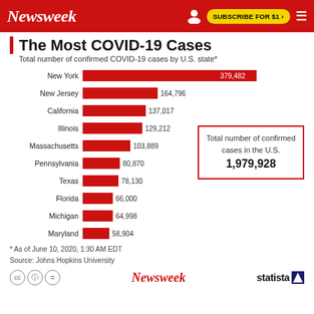Newsweek — SUBSCRIBE FOR $1 >
The Most COVID-19 Cases
Total number of confirmed COVID-19 cases by U.S. state*
[Figure (bar-chart): The Most COVID-19 Cases]
Total number of confirmed cases in the U.S.
1,979,928
* As of June 10, 2020, 1:30 AM EDT
Source: Johns Hopkins University
Newsweek   statista